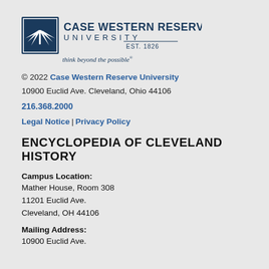[Figure (logo): Case Western Reserve University logo with icon and text including 'think beyond the possible' tagline]
© 2022 Case Western Reserve University
10900 Euclid Ave. Cleveland, Ohio 44106
216.368.2000
Legal Notice | Privacy Policy
ENCYCLOPEDIA OF CLEVELAND HISTORY
Campus Location:
Mather House, Room 308
11201 Euclid Ave.
Cleveland, OH 44106
Mailing Address:
10900 Euclid Ave.